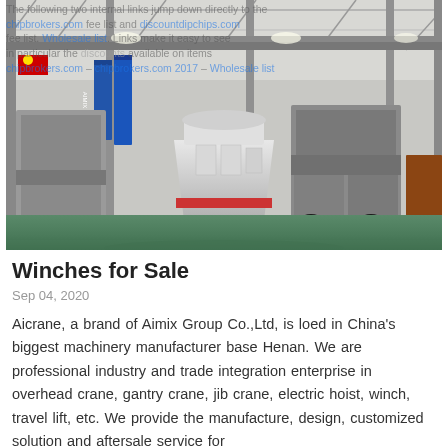[Figure (photo): Interior of a large industrial factory/workshop in China showing heavy machinery including a cone crusher in the center foreground, various mechanical equipment, steel structural framework, overhead cranes, and blue banners hanging from the ceiling. The floor is green-painted concrete.]
Winches for Sale
Sep 04, 2020
Aicrane, a brand of Aimix Group Co., Ltd, is loed in China's biggest machinery manufacturer base Henan. We are professional industry and trade integration enterprise in overhead crane, gantry crane, jib crane, electric hoist, winch, travel lift, etc. We provide the manufacture, design, customized solution and aftersale service for...